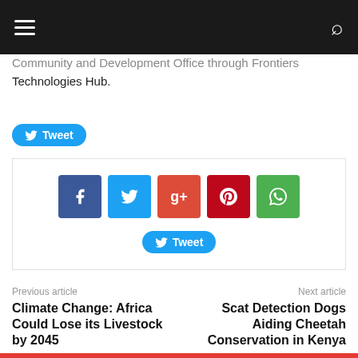Community and Development Office through Frontiers Technologies Hub.
Tweet
[Figure (infographic): Social media share buttons: Facebook (blue), Twitter (light blue), Google+ (red-orange), Pinterest (dark red), WhatsApp (green), and a Tweet button below]
Previous article
Climate Change: Africa Could Lose its Livestock by 2045
Next article
Scat Detection Dogs Aiding Cheetah Conservation in Kenya